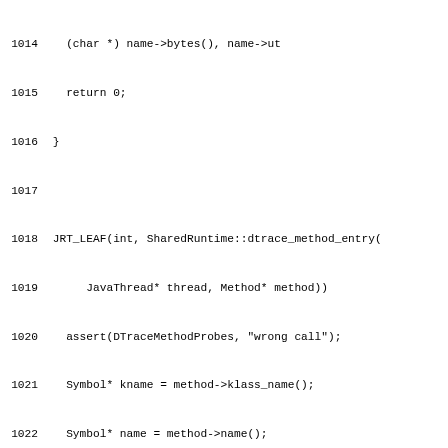Source code listing lines 1014-1044, showing C++ JRT_LEAF functions for SharedRuntime::dtrace_method_entry and SharedRuntime::dtrace_method_exit
1014   (char *) name->bytes(), name->ut
1015   return 0;
1016 }
1017 
1018 JRT_LEAF(int, SharedRuntime::dtrace_method_entry(
1019      JavaThread* thread, Method* method))
1020   assert(DTraceMethodProbes, "wrong call");
1021   Symbol* kname = method->klass_name();
1022   Symbol* name = method->name();
1023   Symbol* sig = method->signature();
1024   HOTSPOT_METHOD_ENTRY(
1025        get_java_tid(thread),
1026        (char *) kname->bytes(), kname->utf8_length(),
1027        (char *) name->bytes(), name->utf8_length(),
1028        (char *) sig->bytes(), sig->utf8_length());
1029   return 0;
1030 JRT_END
1031 
1032 JRT_LEAF(int, SharedRuntime::dtrace_method_exit(
1033      JavaThread* thread, Method* method))
1034   assert(DTraceMethodProbes, "wrong call");
1035   Symbol* kname = method->klass_name();
1036   Symbol* name = method->name();
1037   Symbol* sig = method->signature();
1038   HOTSPOT_METHOD_RETURN(
1039        get_java_tid(thread),
1040        (char *) kname->bytes(), kname->utf8_length(),
1041        (char *) name->bytes(), name->utf8_length(),
1042        (char *) sig->bytes(), sig->utf8_length());
1043   return 0;
1044 JRT_END